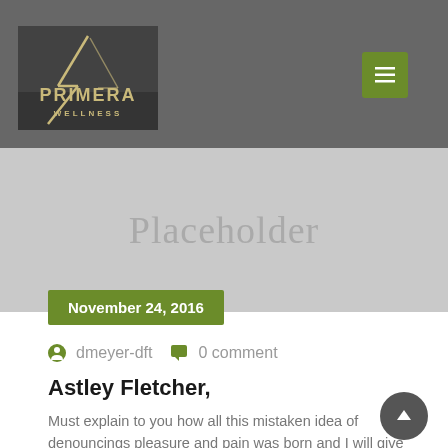[Figure (logo): Primera Wellness logo with stylized lines on dark background]
Placeholder
November 24, 2016
dmeyer-dft   0 comment
Astley Fletcher,
Must explain to you how all this mistaken idea of denouncings pleasure and pain was born and I will give you a complete account of the system, and expound the